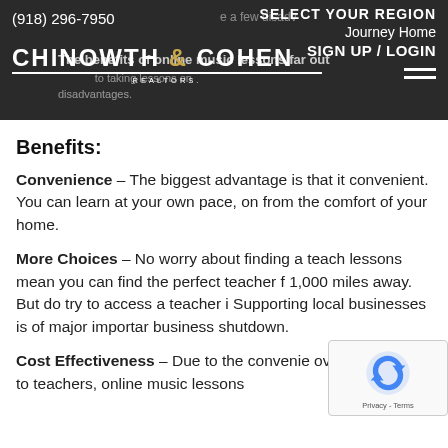(918) 296-7950 | SELECT YOUR REGION | Journey Home | SIGN UP / LOGIN | CHINOWTH & COHEN REALTORS.
Benefits:
Convenience – The biggest advantage is that it convenient. You can learn at your own pace, on from the comfort of your home.
More Choices – No worry about finding a teach lessons mean you can find the perfect teacher f 1,000 miles away. But do try to access a teacher i Supporting local businesses is of major importar business shutdown.
Cost Effectiveness – Due to the convenie overhead costs to teachers, online music lessons